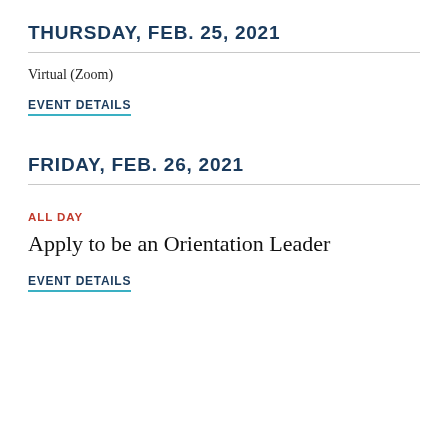THURSDAY, FEB. 25, 2021
Virtual (Zoom)
EVENT DETAILS
FRIDAY, FEB. 26, 2021
ALL DAY
Apply to be an Orientation Leader
EVENT DETAILS